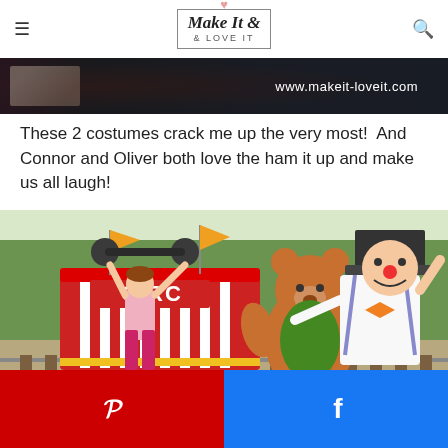Make It & LOVE IT — www.makeit-loveit.com
[Figure (photo): Dark banner strip showing partial image with text www.makeit-loveit.com in white on dark background]
These 2 costumes crack me up the very most!  And Connor and Oliver both love the ham it up and make us all laugh!
[Figure (photo): Photo of children dressed in circus costumes: a girl in a strongman costume lifting a barbell in a red circus cart, a person dressed as a clown with orange bow tie and top hat, and a child wearing a teddy bear costume]
[Figure (infographic): Social sharing buttons bar at bottom: red Pinterest button on left, blue Facebook button on right]